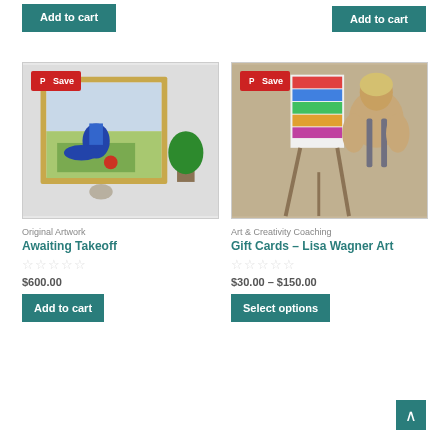Add to cart (top left button)
Add to cart (top right button)
[Figure (photo): Framed painting of a blue vase and bird on a green surface displayed in a room with a plant, with Pinterest Save badge overlay]
[Figure (photo): Woman viewed from behind painting on canvas in an art studio, with Pinterest Save badge overlay]
Original Artwork
Art & Creativity Coaching
Awaiting Takeoff
Gift Cards – Lisa Wagner Art
$600.00
$30.00 – $150.00
Add to cart
Select options